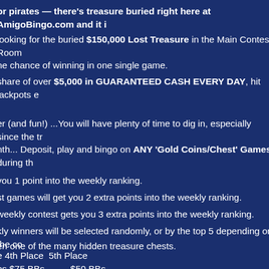or pirates — there's treasure buried right here at AmigoBingo.com and it i
looking for the buried $150,000 Lost Treasure in the Main Contest Room
ne chance of winning in one single game.
share of over $5,000 in GUARANTEED CASH EVERY DAY, hit jackpots e
.
er (and fun!) ...You will have plenty of time to dig in, especially since the tr
nth... Deposit, play and bingo on ANY 'Gold Coins/Chest' Games during th
you 1 point into the weekly ranking.
st games will get you 2 extra points into the weekly ranking.
weekly contest gets you 3 extra points into the weekly ranking.
kly winners will be selected randomly, or by the top 5 depending on the co
en one of the many hidden treasure chests.
e 4th Place  5th Place
bs $75 BBs          $50 BBs